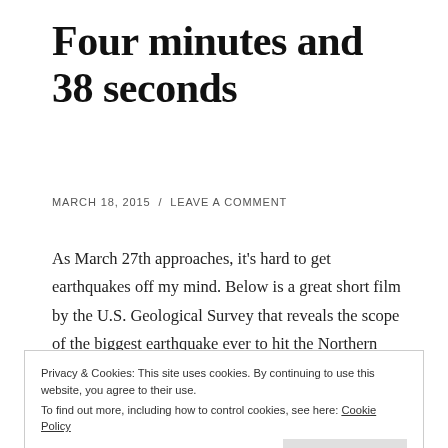Four minutes and 38 seconds
MARCH 18, 2015  /  LEAVE A COMMENT
As March 27th approaches, it’s hard to get earthquakes off my mind. Below is a great short film by the U.S. Geological Survey that reveals the scope of the biggest earthquake ever to hit the Northern Hemisphere, the Good Friday Quake that hit Alaska on March 27, 1964.
Privacy & Cookies: This site uses cookies. By continuing to use this website, you agree to their use.
To find out more, including how to control cookies, see here: Cookie Policy
Close and accept
f… it t i d d b i th U it d St t 20 b d i